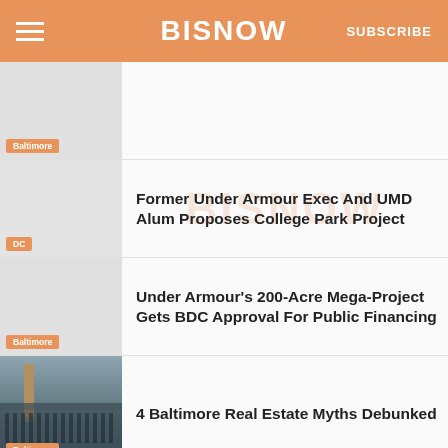BISNOW
[Figure (photo): Thumbnail image with Baltimore badge]
Former Under Armour Exec And UMD Alum Proposes College Park Project
[Figure (photo): Thumbnail image with DC badge]
Under Armour's 200-Acre Mega-Project Gets BDC Approval For Public Financing
[Figure (photo): Crowd in auditorium with Baltimore badge]
4 Baltimore Real Estate Myths Debunked
[Figure (photo): Thumbnail image with no visible photo]
Kevin Plank Unveils Sweeping Plans For Port Covington